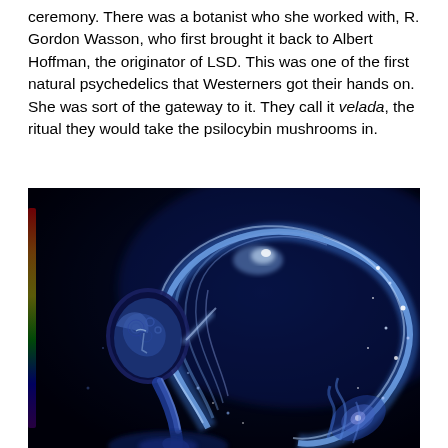ceremony. There was a botanist who she worked with, R. Gordon Wasson, who first brought it back to Albert Hoffman, the originator of LSD. This was one of the first natural psychedelics that Westerners got their hands on. She was sort of the gateway to it. They call it velada, the ritual they would take the psilocybin mushrooms in.
[Figure (illustration): A surreal psychedelic painting on a dark navy/black background depicting a human figure with a decorated/patterned head bowing or leaning forward, with a large swirling wave of blue cosmic energy, stars, and spiral galaxy patterns emanating behind and above the figure. The image has rich blues, purples, and hints of green and rainbow colors along the left edge.]